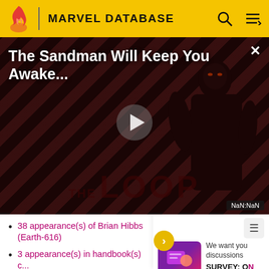MARVEL DATABASE
[Figure (screenshot): The Sandman Will Keep You Awake... video thumbnail with dark figure and THE LOOP branding, with play button in center. NaN:NaN timer shown.]
38 appearance(s) of Brian Hibbs (Earth-616)
3 appearance(s) in handbook(s) of ... 616)
3 minor appearance(s) of Brian H...
2 mention(s) of Brian Hibbs (Eart...